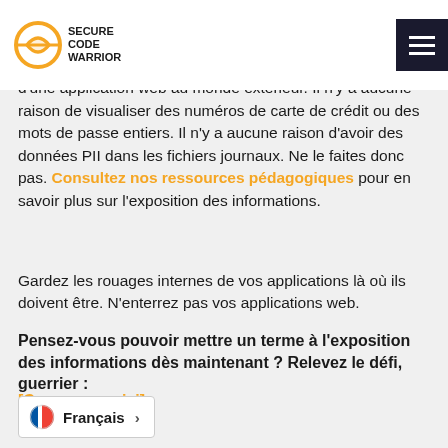Secure Code Warrior
Il n'y a aucune raison d'exposer le fonctionnement interne d'une application web au monde extérieur. Il n'y a aucune raison de visualiser des numéros de carte de crédit ou des mots de passe entiers. Il n'y a aucune raison d'avoir des données PII dans les fichiers journaux. Ne le faites donc pas. Consultez nos ressources pédagogiques pour en savoir plus sur l'exposition des informations.
Gardez les rouages internes de vos applications là où ils doivent être. N'enterrez pas vos applications web.
Pensez-vous pouvoir mettre un terme à l'exposition des informations dès maintenant ? Relevez le défi, guerrier :
[Commencez ici]
Français